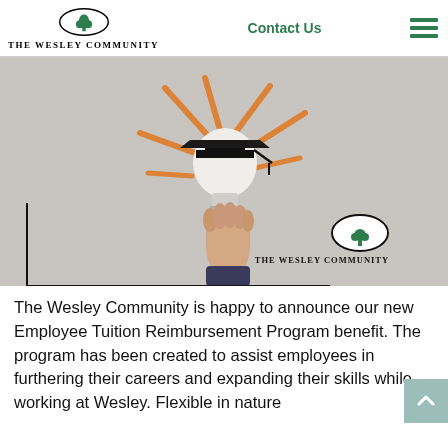The Wesley Community — Contact Us
[Figure (photo): Photo of a hand holding a light bulb with a graduation cap on top, with orange rays around it suggesting ideas and learning. The Wesley Community logo and name are displayed in the lower right of the image.]
The Wesley Community is happy to announce our new Employee Tuition Reimbursement Program benefit. The program has been created to assist employees in furthering their careers and expanding their skills while working at Wesley. Flexible in nature